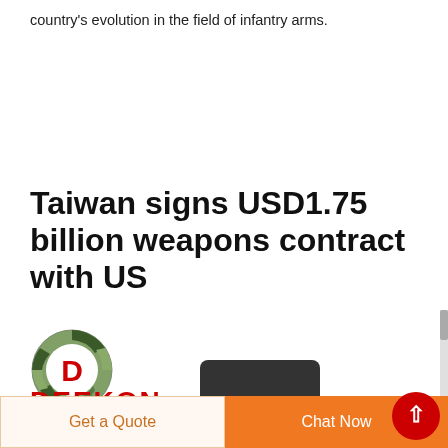country's evolution in the field of infantry arms.
Taiwan signs USD1.75 billion weapons contract with US
[Figure (logo): DEEKON logo: circular camouflage-patterned emblem with red 'D' in center, above red bold text DEEKON]
[Figure (photo): Dark grey/black rounded rectangular object (partial view at bottom)]
Get a Quote
Chat Now